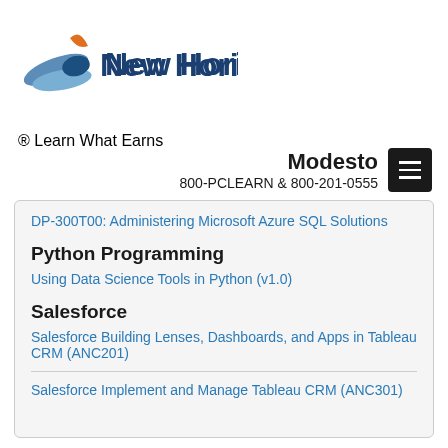[Figure (logo): New Horizons logo with tagline 'Learn What Earns']
Modesto
800-PCLEARN  & 800-201-0555
DP-300T00: Administering Microsoft Azure SQL Solutions
Python Programming
Using Data Science Tools in Python (v1.0)
Salesforce
Salesforce Building Lenses, Dashboards, and Apps in Tableau CRM (ANC201)
Salesforce Implement and Manage Tableau CRM (ANC301)